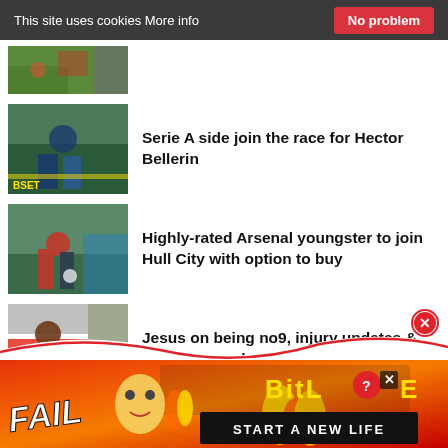This site uses cookies More info   No problem
[Figure (photo): Partial soccer/football match photo cropped at top]
Serie A side join the race for Hector Bellerin
[Figure (photo): Soccer players on field, one kneeling]
Highly-rated Arsenal youngster to join Hull City with option to buy
[Figure (photo): Arsenal player in red and white jersey with Emirates sponsor]
Jesus on being no9, injury updates & more: Arsenal news roundup 18/8/22
[Figure (advertisement): BitLife mobile game advertisement - FAIL Start a New Life]